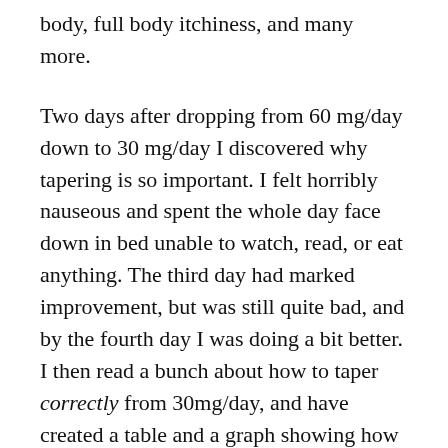body, full body itchiness, and many more.
Two days after dropping from 60 mg/day down to 30 mg/day I discovered why tapering is so important. I felt horribly nauseous and spent the whole day face down in bed unable to watch, read, or eat anything. The third day had marked improvement, but was still quite bad, and by the fourth day I was doing a bit better. I then read a bunch about how to taper correctly from 30mg/day, and have created a table and a graph showing how I should have tapered off 60 mg/day.
The method repeats. First cut your pills in half and then decrease your interval from every 4 hours, to every 3 hours. This is a 5mg dose 8